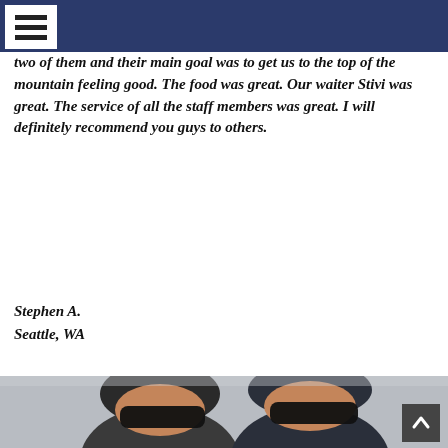[Figure (screenshot): Dark navy navigation bar with white hamburger menu icon (three horizontal lines) in top-left corner]
two of them and their main goal was to get us to the top of the mountain feeling good. The food was great. Our waiter Stivi was great. The service of all the staff members was great. I will definitely recommend you guys to others.
Stephen A.
Seattle, WA
[Figure (photo): Two people wearing dark beanies and large black sunglasses taking a selfie outdoors, overcast sky background]